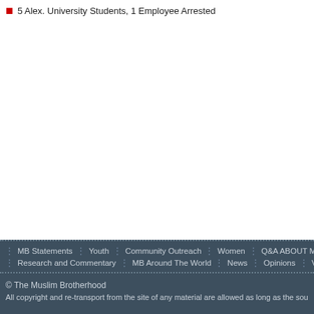5 Alex. University Students, 1 Employee Arrested
MB Statements | Youth | Community Outreach | Women | Q&A ABOUT MB | Inte Research and Commentary | MB Around The World | News | Opinions | Videos
© The Muslim Brotherhood
All copyright and re-transport from the site of any material are allowed as long as the sou